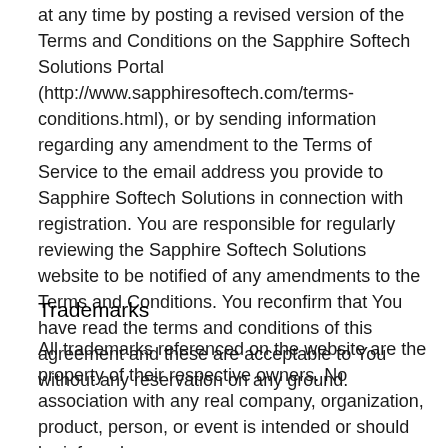at any time by posting a revised version of the Terms and Conditions on the Sapphire Softech Solutions Portal (http://www.sapphiresoftech.com/terms-conditions.html), or by sending information regarding any amendment to the Terms of Service to the email address you provide to Sapphire Softech Solutions in connection with registration. You are responsible for regularly reviewing the Sapphire Softech Solutions website to be notified of any amendments to the Terms and Conditions. You reconfirm that You have read the terms and conditions of this agreement and these are acceptable to You without any reservation on any ground.
Trademarks
All trademarks referenced on the website are the property of their respective owners. No association with any real company, organization, product, person, or event is intended or should be inferred.